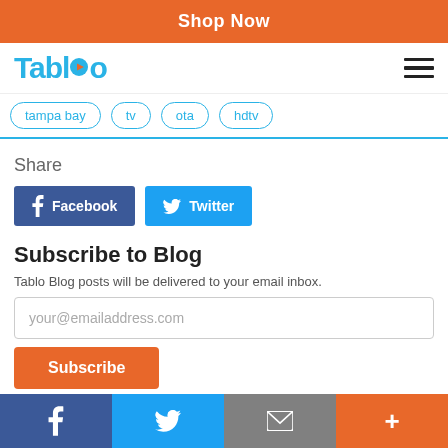Shop Now
[Figure (logo): Tablo logo with play button icon and hamburger menu]
tampa bay
tv
ota
hdtv
Share
Facebook  Twitter
Subscribe to Blog
Tablo Blog posts will be delivered to your email inbox.
your@emailaddress.com
Subscribe
Facebook  Twitter  Email  +